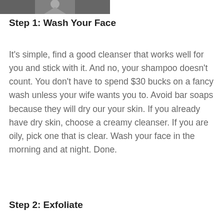[Figure (photo): Partial photo strip at the top showing what appears to be a person, cropped]
Step 1: Wash Your Face
It's simple, find a good cleanser that works well for you and stick with it. And no, your shampoo doesn't count. You don't have to spend $30 bucks on a fancy wash unless your wife wants you to. Avoid bar soaps because they will dry our your skin. If you already have dry skin, choose a creamy cleanser. If you are oily, pick one that is clear. Wash your face in the morning and at night. Done.
Step 2: Exfoliate